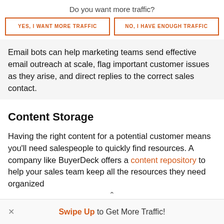Do you want more traffic?
YES, I WANT MORE TRAFFIC
NO, I HAVE ENOUGH TRAFFIC
Email bots can help marketing teams send effective email outreach at scale, flag important customer issues as they arise, and direct replies to the correct sales contact.
Content Storage
Having the right content for a potential customer means you'll need salespeople to quickly find resources. A company like BuyerDeck offers a content repository to help your sales team keep all the resources they need organized
Swipe Up to Get More Traffic!